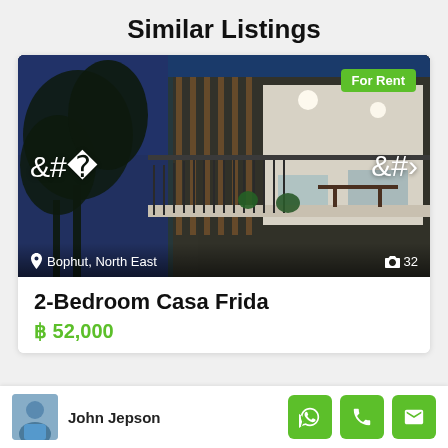Similar Listings
[Figure (photo): Nighttime exterior/balcony photo of a modern apartment building with blue sky and interior lighting visible through glass sliding doors. Shows a balcony with railing and outdoor furniture.]
For Rent
Bophut, North East
32
2-Bedroom Casa Frida
฿ 52,000
John Jepson